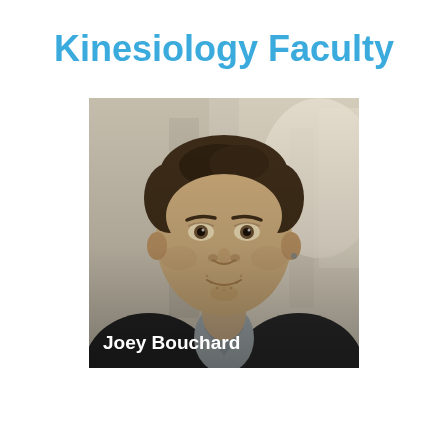Kinesiology Faculty
[Figure (photo): Professional headshot of Joey Bouchard, a man with short dark hair wearing a dark jacket and light shirt, with a blurred indoor background. A white text overlay at the bottom reads 'Joey Bouchard'.]
Joey Bouchard